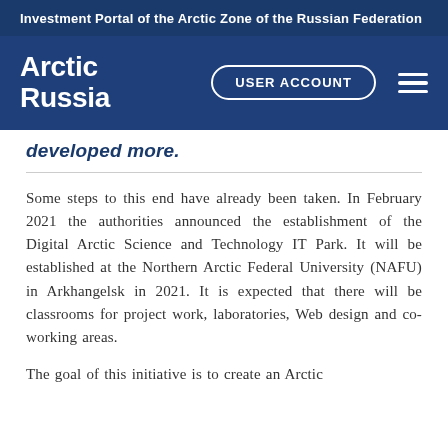Investment Portal of the Arctic Zone of the Russian Federation
Arctic
Russia
developed more.
Some steps to this end have already been taken. In February 2021 the authorities announced the establishment of the Digital Arctic Science and Technology IT Park. It will be established at the Northern Arctic Federal University (NAFU) in Arkhangelsk in 2021. It is expected that there will be classrooms for project work, laboratories, Web design and co-working areas.
The goal of this initiative is to create an Arctic